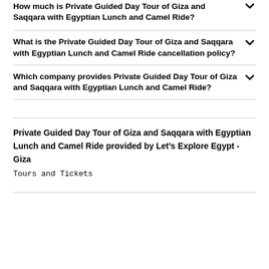How much is Private Guided Day Tour of Giza and Saqqara with Egyptian Lunch and Camel Ride?
What is the Private Guided Day Tour of Giza and Saqqara with Egyptian Lunch and Camel Ride cancellation policy?
Which company provides Private Guided Day Tour of Giza and Saqqara with Egyptian Lunch and Camel Ride?
Private Guided Day Tour of Giza and Saqqara with Egyptian Lunch and Camel Ride provided by Let's Explore Egypt - Giza
Tours and Tickets